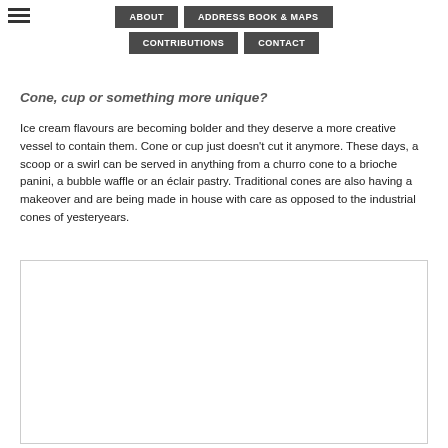ABOUT | ADDRESS BOOK & MAPS | CONTRIBUTIONS | CONTACT
Cone, cup or something more unique?
Ice cream flavours are becoming bolder and they deserve a more creative vessel to contain them. Cone or cup just doesn't cut it anymore. These days, a scoop or a swirl can be served in anything from a churro cone to a brioche panini, a bubble waffle or an éclair pastry. Traditional cones are also having a makeover and are being made in house with care as opposed to the industrial cones of yesteryears.
[Figure (photo): Empty white image placeholder box with light border]